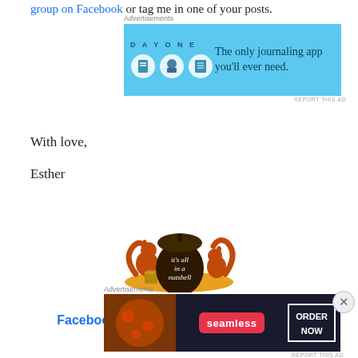group on Facebook or tag me in one of your posts.
[Figure (screenshot): DayOne journaling app advertisement banner. Light blue background with DayOne logo icons and text: 'The only journaling app you'll ever need.']
With love,
Esther
[Figure (illustration): Logo illustration: two orange squirrels flanking a large dark acorn on a yellow ground. Text on acorn reads 'it's all in a nutshell']
Follow me on
Facebook, You-Tube, Ravelry, Instagram
[Figure (screenshot): Seamless food delivery advertisement. Dark background with pizza image on left, pink Seamless logo in center, and 'ORDER NOW' button on right.]